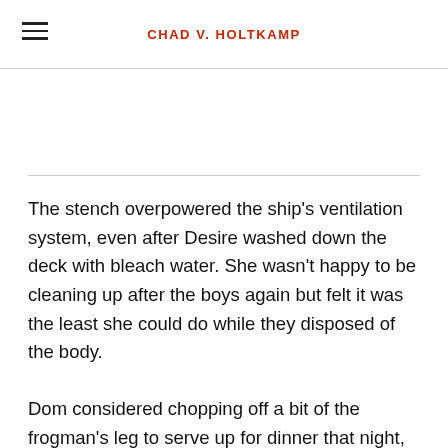CHAD V. HOLTKAMP
The stench overpowered the ship's ventilation system, even after Desire washed down the deck with bleach water. She wasn't happy to be cleaning up after the boys again but felt it was the least she could do while they disposed of the body.
Dom considered chopping off a bit of the frogman's leg to serve up for dinner that night, but Jock grabbed the laser saw before he